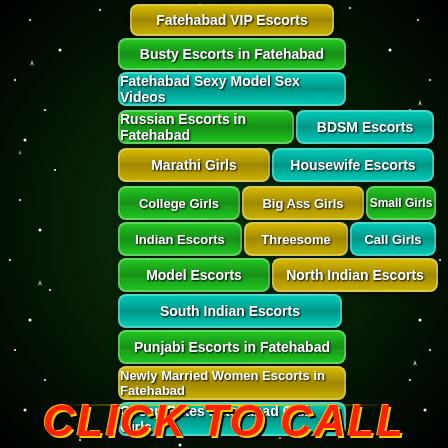Fatehabad VIP Escorts
Busty Escorts in Fatehabad
Fatehabad Sexy Model Sex Videos
Russian Escorts in Fatehabad
BDSM Escorts
Marathi Girls
Housewife Escorts
College Girls
Big Ass Girls
Small Girls
Indian Escorts
Threesome
Call Girls
Model Escorts
North Indian Escorts
South Indian Escorts
Punjabi Escorts in Fatehabad
Newly Married Women Escorts in Fatehabad
Cheap Rates Fatehabad Call Girls
CLICK TO CALL